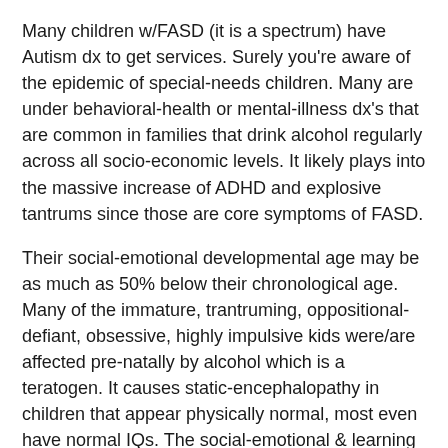Many children w/FASD (it is a spectrum) have Autism dx to get services. Surely you're aware of the epidemic of special-needs children. Many are under behavioral-health or mental-illness dx's that are common in families that drink alcohol regularly across all socio-economic levels. It likely plays into the massive increase of ADHD and explosive tantrums since those are core symptoms of FASD.
Their social-emotional developmental age may be as much as 50% below their chronological age. Many of the immature, trantruming, oppositional-defiant, obsessive, highly impulsive kids were/are affected pre-natally by alcohol which is a teratogen. It causes static-encephalopathy in children that appear physically normal, most even have normal IQs. The social-emotional & learning gap usually increases as things become more abstract and expectations increase.
You are unaware, if you believe this is not an increasing problem in the schools... and especially children in the foster adoption and homeless systems. Many parents...